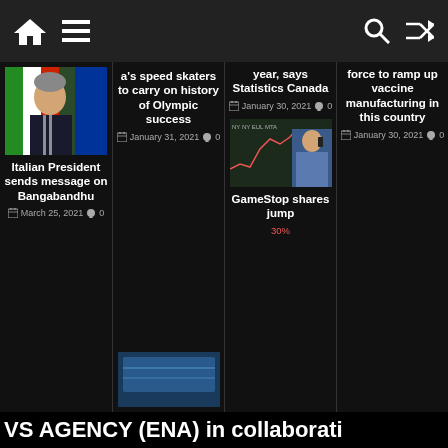Navigation bar with home, menu, search, shuffle icons
[Figure (photo): Italian President photo]
Italian President sends message on Bangabandhu
March 25, 2021  0
a's speed skaters to carry on history of Olympic success
January 31, 2021  0
year, says Statistics Canada
January 30, 2021  0
[Figure (photo): GameStop stock chart and trader photo]
GameStop shares jump
force to ramp up vaccine manufacturing in this country
January 30, 2021  0
VS AGENCY (ENA) in collaborati